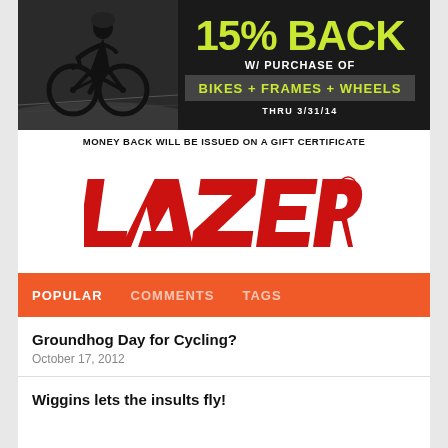[Figure (infographic): Promotional ad banner for cycling gear: '15% BACK W/ PURCHASE OF BIKES + FRAMES + WHEELS THRU 3/31/14' with a cyclist silhouette on dark background and yellow-green accent text]
MONEY BACK WILL BE ISSUED ON A GIFT CERTIFICATE
[Figure (logo): LAZER brand logo in red bold lettering with lightning bolt stylization and registered trademark symbol]
POPULAR   COMMENTS   TAGS
Groundhog Day for Cycling?
October 17, 2012
Wiggins lets the insults fly!